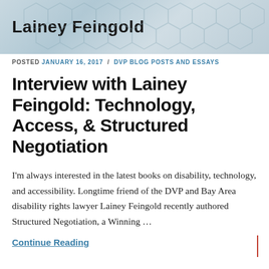Lainey Feingold
POSTED JANUARY 16, 2017 / DVP BLOG POSTS AND ESSAYS
Interview with Lainey Feingold: Technology, Access, & Structured Negotiation
I'm always interested in the latest books on disability, technology, and accessibility. Longtime friend of the DVP and Bay Area disability rights lawyer Lainey Feingold recently authored Structured Negotiation, a Winning …
Continue Reading